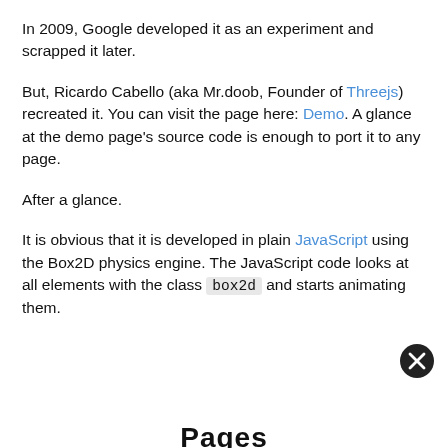In 2009, Google developed it as an experiment and scrapped it later.
But, Ricardo Cabello (aka Mr.doob, Founder of Threejs) recreated it. You can visit the page here: Demo. A glance at the demo page's source code is enough to port it to any page.
After a glance.
It is obvious that it is developed in plain JavaScript using the Box2D physics engine. The JavaScript code looks at all elements with the class box2d and starts animating them.
Pages